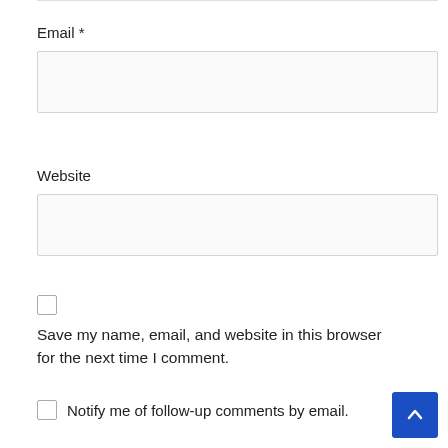Email *
[Figure (other): Email input text field (empty)]
Website
[Figure (other): Website input text field (empty)]
Save my name, email, and website in this browser for the next time I comment.
Notify me of follow-up comments by email.